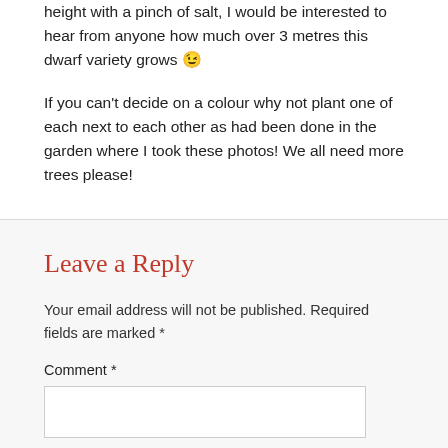height with a pinch of salt, I would be interested to hear from anyone how much over 3 metres this dwarf variety grows 😉
If you can't decide on a colour why not plant one of each next to each other as had been done in the garden where I took these photos! We all need more trees please!
Leave a Reply
Your email address will not be published. Required fields are marked *
Comment *